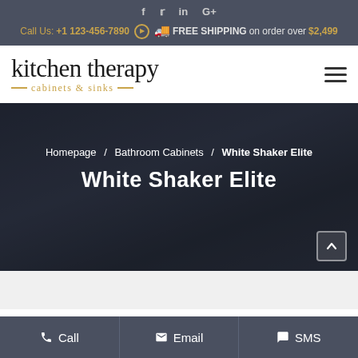Social icons: f, Twitter, in, G+
Call Us: +1 123-456-7890 | FREE SHIPPING on order over $2,499
kitchen therapy — cabinets & sinks —
Homepage / Bathroom Cabinets / White Shaker Elite
White Shaker Elite
Call | Email | SMS